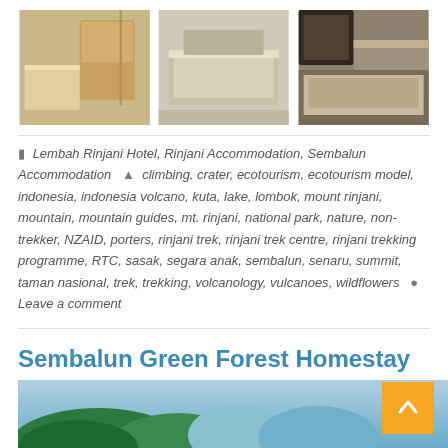[Figure (photo): Three hotel room photos showing beds and interior of Lembah Rinjani Hotel]
Lembah Rinjani Hotel, Rinjani Accommodation, Sembalun Accommodation  climbing, crater, ecotourism, ecotourism model, indonesia, indonesia volcano, kuta, lake, lombok, mount rinjani, mountain, mountain guides, mt. rinjani, national park, nature, non-trekker, NZAID, porters, rinjani trek, rinjani trek centre, rinjani trekking programme, RTC, sasak, segara anak, sembalun, senaru, summit, taman nasional, trek, trekking, volcanology, vulcanoes, wildflowers  Leave a comment
Sembalun Green Forest Homestay
June 10, 2014
[Figure (photo): Partial view of green forest and mountain landscape for Sembalun Green Forest Homestay]